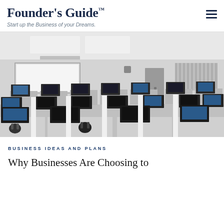Founder's Guide™ — Start up the Business of your Dreams.
[Figure (photo): Black and white photograph of a computer lab classroom with rows of desktop computers and monitors on white desks, headphones, a whiteboard at the front, and ceiling lights.]
BUSINESS IDEAS AND PLANS
Why Businesses Are Choosing to